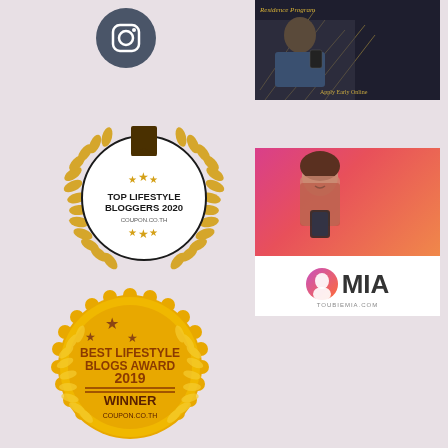[Figure (logo): Instagram icon in a dark blue-gray circle]
[Figure (photo): Advertisement banner showing an older man on a phone, with text 'Residence Program' and 'Apply Early Online']
[Figure (illustration): Top Lifestyle Bloggers 2020 badge with golden laurel wreath, white circle center, stars, text reads TOP LIFESTYLE BLOGGERS 2020 COUPON.CO.TH]
[Figure (photo): MIA advertisement showing a young woman looking at her phone on a pink-red gradient background, with MIA logo and TOUBIEMIA.COM text]
[Figure (illustration): Best Lifestyle Blogs Award 2019 Winner badge - golden circular seal with laurel wreath, stars, text reads BEST LIFESTYLE BLOGS AWARD 2019 WINNER COUPON.CO.TH]